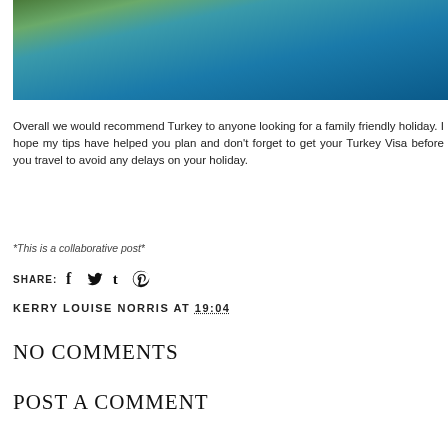[Figure (photo): Aerial or elevated view of rocky coastline with green vegetation and clear turquoise/blue sea water]
Overall we would recommend Turkey to anyone looking for a family friendly holiday. I hope my tips have helped you plan and don't forget to get your Turkey Visa before you travel to avoid any delays on your holiday.
*This is a collaborative post*
SHARE: [facebook] [twitter] [tumblr] [pinterest]
KERRY LOUISE NORRIS AT 19:04
NO COMMENTS
POST A COMMENT